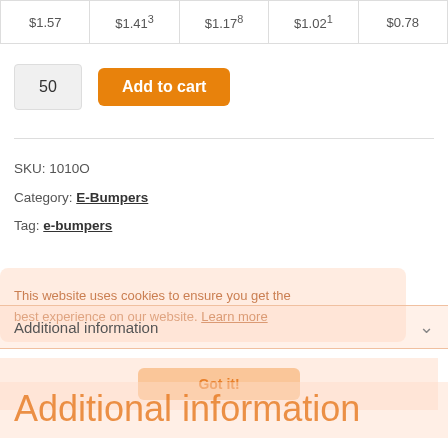| $1.57 | $1.41³ | $1.17⁸ | $1.02¹ | $0.78 |
50
Add to cart
SKU: 1010O
Category: E-Bumpers
Tag: e-bumpers
This website uses cookies to ensure you get the best experience on our website. Learn more
Additional information
Got it!
Additional information